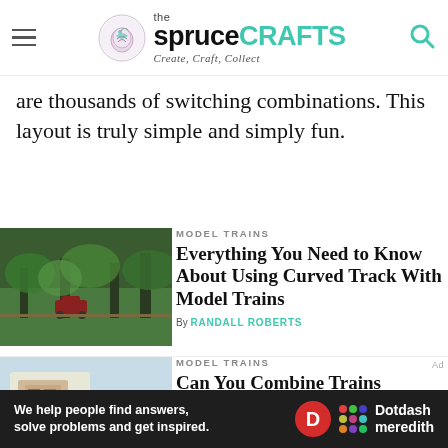the spruceCRAFTS — Create, Craft, Collect
are thousands of switching combinations. This layout is truly simple and simply fun.
MODEL TRAINS
Everything You Need to Know About Using Curved Track With Model Trains
By RANDALL ROBERTS
MODEL TRAINS
Can You Combine Trains
We help people find answers, solve problems and get inspired. Dotdash meredith